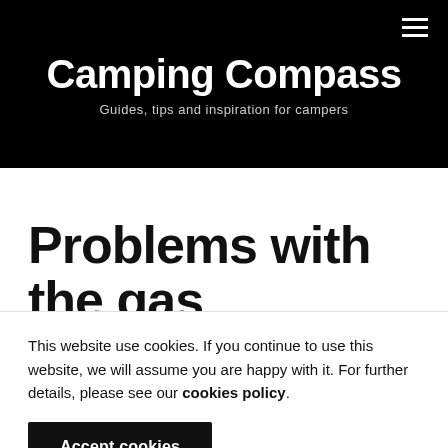Camping Compass — Guides, tips and inspiration for campers
Problems with the gas system
This website use cookies. If you continue to use this website, we will assume you are happy with it. For further details, please see our cookies policy.
Accept cookies